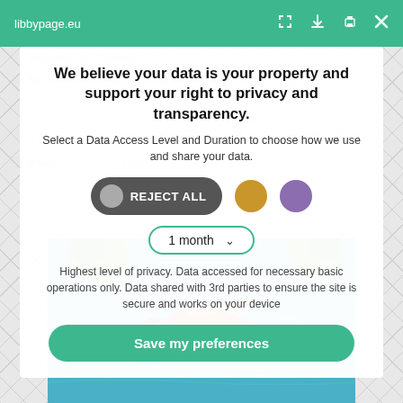libbypage.eu
We believe your data is your property and support your right to privacy and transparency.
Select a Data Access Level and Duration to choose how we use and share your data.
REJECT ALL
1 month
Highest level of privacy. Data accessed for necessary basic operations only. Data shared with 3rd parties to ensure the site is secure and works on your device
Save my preferences
[Figure (illustration): Painting of colorful birds/fish on blue background visible behind modal dialog]